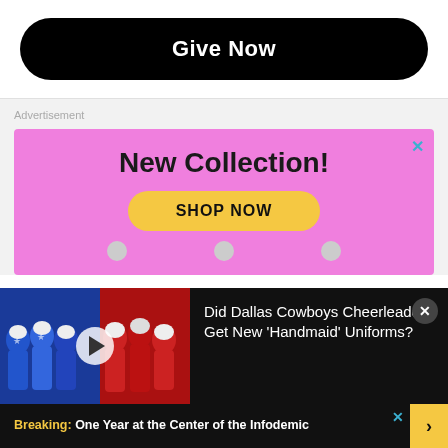[Figure (other): Black rounded rectangle button with white bold text 'Give Now']
Advertisement
[Figure (infographic): Pink advertisement banner reading 'New Collection!' with a yellow 'SHOP NOW' button and a cyan X close button]
[Figure (screenshot): Video card overlay on dark background showing crowd of people in blue and red robes/costumes (Handmaid's Tale style) with play button, and text: 'Did Dallas Cowboys Cheerleaders Get New ‘Handmaid’ Uniforms?' with X close button]
Breaking: One Year at the Center of the Infodemic